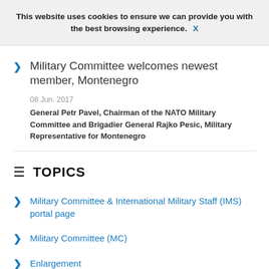This website uses cookies to ensure we can provide you with the best browsing experience. X
Military Committee welcomes newest member, Montenegro
08 Jun. 2017
General Petr Pavel, Chairman of the NATO Military Committee and Brigadier General Rajko Pesic, Military Representative for Montenegro
TOPICS
Military Committee & International Military Staff (IMS) portal page
Military Committee (MC)
Enlargement